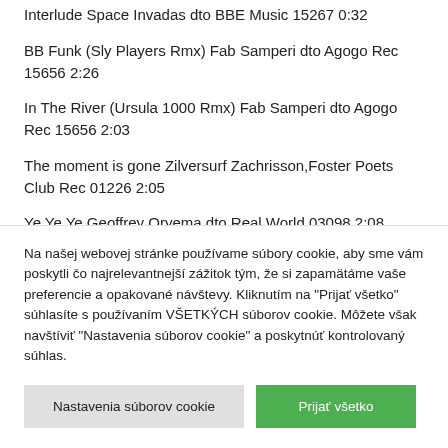Interlude Space Invadas dto BBE Music 15267 0:32
BB Funk (Sly Players Rmx) Fab Samperi dto Agogo Rec 15656 2:26
In The River (Ursula 1000 Rmx) Fab Samperi dto Agogo Rec 15656 2:03
The moment is gone Zilversurf Zachrisson,Foster Poets Club Rec 01226 2:05
Ye Ye Ye Geoffrey Oryema dto Real World 03098 2:08
Sex Dub Jazz'n Roll (Brian May Dub) UHT dto Roaming
Na našej webovej stránke používame súbory cookie, aby sme vám poskytli čo najrelevantnejší zážitok tým, že si zapamätáme vaše preferencie a opakované návštevy. Kliknutím na "Prijať všetko" súhlasíte s používaním VŠETKÝCH súborov cookie. Môžete však navštíviť "Nastavenia súborov cookie" a poskytnúť kontrolovaný súhlas.
Nastavenia súborov cookie
Prijať všetko